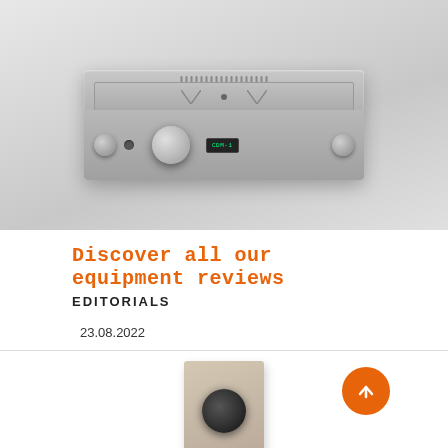[Figure (photo): Silver/aluminum stereo integrated amplifier photographed on a light gray gradient background]
Discover all our equipment reviews
EDITORIALS
23.08.2022
[Figure (photo): Tan/beige wood-framed speaker with black driver cone, partially visible at bottom of page. Orange circular scroll-to-top button in lower right.]